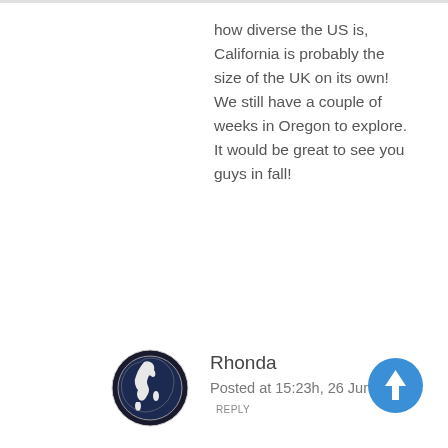how diverse the US is, California is probably the size of the UK on its own! We still have a couple of weeks in Oregon to explore. It would be great to see you guys in fall!
Rhonda
Posted at 15:23h, 26 June REPLY
[Figure (illustration): Circular avatar icon showing a globe/earth illustration with dark background]
[Figure (illustration): Blue circular button with white upward arrow icon]